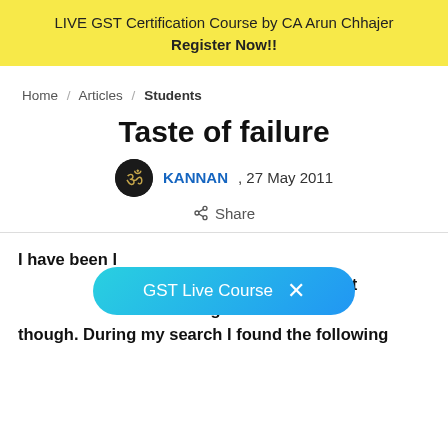LIVE GST Certification Course by CA Arun Chhajer Register Now!!
Home / Articles / Students
Taste of failure
KANNAN , 27 May 2011
Share
I have been [looking for reasons for] my failure for the past [few months and searched the internet al]right though. During my search I found the following
[Figure (other): GST Live Course pill/badge overlay button with X close button]